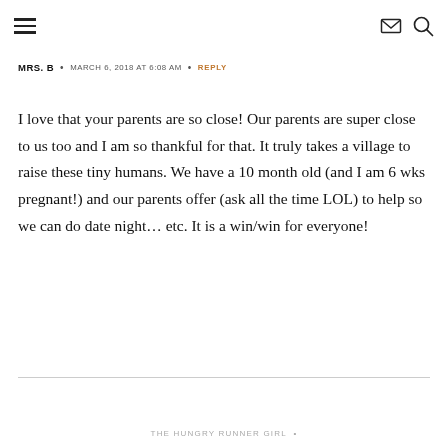≡  ✉  🔍
MRS. B • MARCH 6, 2018 AT 6:08 AM • REPLY
I love that your parents are so close! Our parents are super close to us too and I am so thankful for that. It truly takes a village to raise these tiny humans. We have a 10 month old (and I am 6 wks pregnant!) and our parents offer (ask all the time LOL) to help so we can do date night… etc. It is a win/win for everyone!
THE HUNGRY RUNNER GIRL •